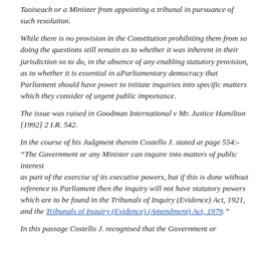Taoiseach or a Minister from appointing a tribunal in pursuance of such resolution.
While there is no provision in the Constitution prohibiting them from so doing the questions still remain as to whether it was inherent in their jurisdiction so to do, in the absence of any enabling statutory provision, as to whether it is essential in aParliamentary democracy that Parliament should have power to initiate inquiries into specific matters which they consider of urgent public importance.
The issue was raised in Goodman International v Mr. Justice Hamilton [1992] 2 I.R. 542.
In the course of his Judgment therein Costello J. stated at page 554:- “The Government or any Minister can inquire into matters of public interest as part of the exercise of its executive powers, but if this is done without reference to Parliament then the inquiry will not have statutory powers which are to be found in the Tribunals of Inquiry (Evidence) Act, 1921, and the Tribunals of Inquiry (Evidence) (Amendment) Act, 1979.”
In this passage Costello J. recognised that the Government or